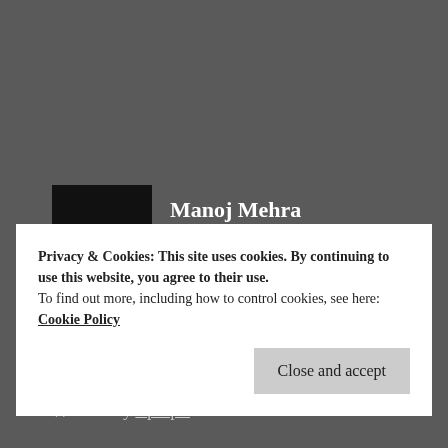Manoj Mehra
July 18, 2020  Reply
I love samosa too. Samosa makes mouth water.
★ Liked by 3 people
Privacy & Cookies: This site uses cookies. By continuing to use this website, you agree to their use.
To find out more, including how to control cookies, see here: Cookie Policy
Close and accept